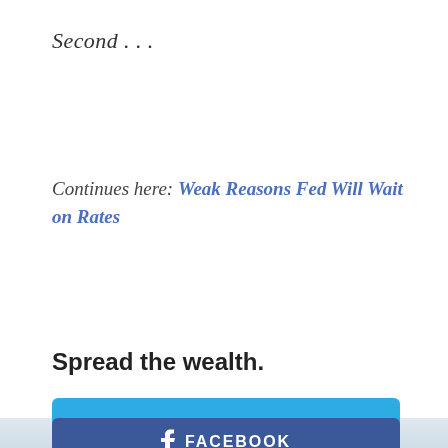Second . . .
Continues here: Weak Reasons Fed Will Wait on Rates
Spread the wealth.
[Figure (infographic): Twitter share button - light blue rectangular button with Twitter bird icon and 'TWITTER' text in white]
[Figure (infographic): Facebook share button - dark blue rectangular button with Facebook 'f' icon and 'FACEBOOK' text in white (partially visible at bottom)]